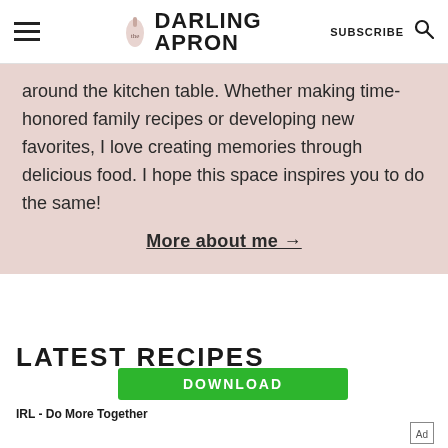the DARLING APRON | SUBSCRIBE
around the kitchen table. Whether making time-honored family recipes or developing new favorites, I love creating memories through delicious food. I hope this space inspires you to do the same!
More about me →
LATEST RECIPES
[Figure (other): Green download button ad banner with text DOWNLOAD]
IRL - Do More Together
Ad